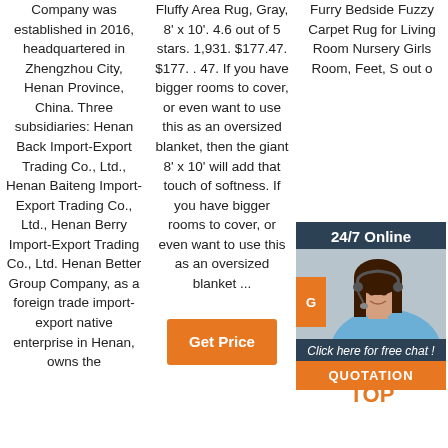Company was established in 2016, headquartered in Zhengzhou City, Henan Province, China. Three subsidiaries: Henan Back Import-Export Trading Co., Ltd., Henan Baiteng Import-Export Trading Co., Ltd., Henan Berry Import-Export Trading Co., Ltd. Henan Better Group Company, as a foreign trade import-export native enterprise in Henan, owns the
Fluffy Area Rug, Gray, 8' x 10'. 4.6 out of 5 stars. 1,931. $177.47. $177. . 47. If you have bigger rooms to cover, or even want to use this as an oversized blanket, then the giant 8' x 10' will add that touch of softness. If you have bigger rooms to cover, or even want to use this as an oversized blanket ...
[Figure (other): Get Price orange button]
Furry Bedside Fuzzy Carpet Rug for Living Room Nursery Girls Room,
Feet, S
out o
[Figure (infographic): 24/7 Online chat widget with photo of woman wearing headset, orange G button, 'Click here for free chat!', and QUOTATION button]
[Figure (other): TOP icon with orange dots and text]